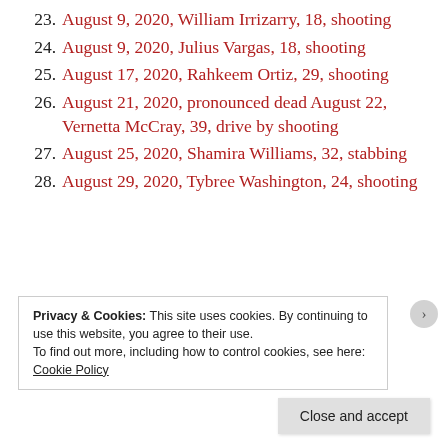23. August 9, 2020, William Irrizarry, 18, shooting
24. August 9, 2020, Julius Vargas, 18, shooting
25. August 17, 2020, Rahkeem Ortiz, 29, shooting
26. August 21, 2020, pronounced dead August 22, Vernetta McCray, 39, drive by shooting
27. August 25, 2020, Shamira Williams, 32, stabbing
28. August 29, 2020, Tybree Washington, 24, shooting
Privacy & Cookies: This site uses cookies. By continuing to use this website, you agree to their use. To find out more, including how to control cookies, see here: Cookie Policy
Close and accept